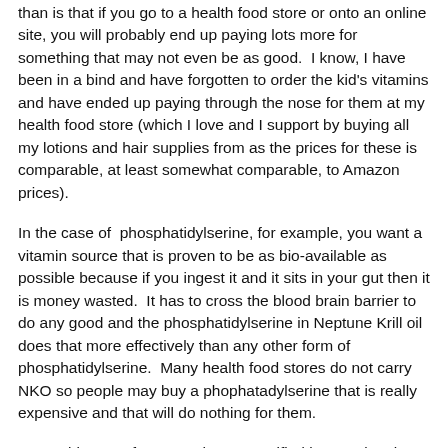than is that if you go to a health food store or onto an online site, you will probably end up paying lots more for something that may not even be as good.  I know, I have been in a bind and have forgotten to order the kid's vitamins and have ended up paying through the nose for them at my health food store (which I love and I support by buying all my lotions and hair supplies from as the prices for these is comparable, at least somewhat comparable, to Amazon prices).
In the case of  phosphatidylserine, for example, you want a vitamin source that is proven to be as bio-available as possible because if you ingest it and it sits in your gut then it is money wasted.  It has to cross the blood brain barrier to do any good and the phosphatidylserine in Neptune Krill oil does that more effectively than any other form of phosphatidylserine.  Many health food stores do not carry NKO so people may buy a phophatadylserine that is really expensive and that will do nothing for them.
Reputable manufactures who are certified by a national entity are your best bet, avoid non USP certified ADHD vitamins as they may be a huge waste of money.  Since all ADHD vitamins should come form a reputable manufacturer,